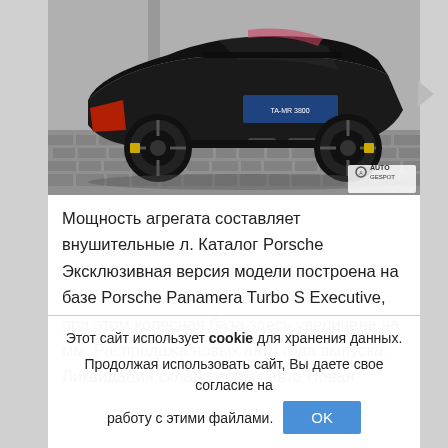[Figure (photo): Black Porsche Panamera photographed from rear-quarter angle on a cobblestone street. AUTO GESPOT watermark in bottom right corner.]
Мощность агрегата составляет внушительные л. Каталог Porsche Эксклюзивная версия модели построена на базе Porsche Panamera Turbo S Executive, при этом колесная база здесь увеличена на мм. Распродажа новых авто года выпуска. Ликвидация склада новых авто Новая
Этот сайт использует cookie для хранения данных. Продолжая использовать сайт, Вы даете свое согласие на работу с этими файлами. OK